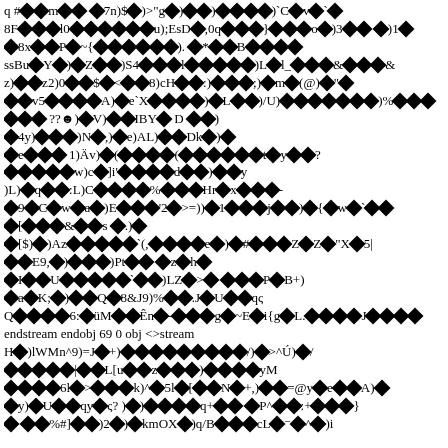Corrupted binary/encoded stream content with diamond replacement characters interspersed with partial ASCII text including: endstream endobj 69 0 obj <>stream